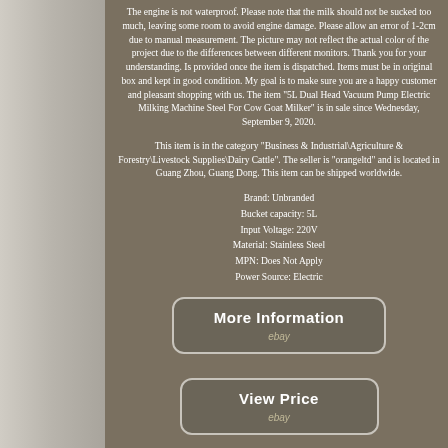[Figure (photo): Left side strip showing a metallic/stainless steel milking machine bucket container]
The engine is not waterproof. Please note that the milk should not be sucked too much, leaving some room to avoid engine damage. Please allow an error of 1-2cm due to manual measurement. The picture may not reflect the actual color of the project due to the differences between different monitors. Thank you for your understanding. Is provided once the item is dispatched. Items must be in original box and kept in good condition. My goal is to make sure you are a happy customer and pleasant shopping with us. The item "5L Dual Head Vacuum Pump Electric Milking Machine Steel For Cow Goat Milker" is in sale since Wednesday, September 9, 2020.
This item is in the category "Business & Industrial\Agriculture & Forestry\Livestock Supplies\Dairy Cattle". The seller is "orangeltd" and is located in Guang Zhou, Guang Dong. This item can be shipped worldwide.
Brand: Unbranded
Bucket capacity: 5L
Input Voltage: 220V
Material: Stainless Steel
MPN: Does Not Apply
Power Source: Electric
[Figure (screenshot): Button/link graphic reading 'More Information' with 'ebay' text below, in a rounded rectangle]
[Figure (screenshot): Button/link graphic reading 'View Price' with 'ebay' text below, in a rounded rectangle]